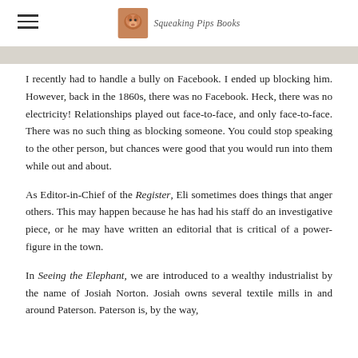Squeaking Pips Books
I recently had to handle a bully on Facebook. I ended up blocking him. However, back in the 1860s, there was no Facebook. Heck, there was no electricity! Relationships played out face-to-face, and only face-to-face. There was no such thing as blocking someone. You could stop speaking to the other person, but chances were good that you would run into them while out and about.
As Editor-in-Chief of the Register, Eli sometimes does things that anger others. This may happen because he has had his staff do an investigative piece, or he may have written an editorial that is critical of a power-figure in the town.
In Seeing the Elephant, we are introduced to a wealthy industrialist by the name of Josiah Norton. Josiah owns several textile mills in and around Paterson. Paterson is, by the way,